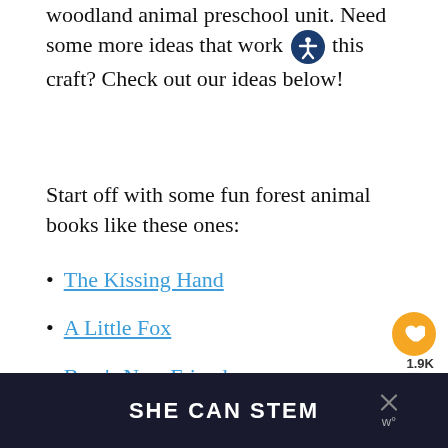woodland animal preschool unit. Need some more ideas that work with this craft? Check out our ideas below!
Start off with some fun forest animal books like these ones:
The Kissing Hand
A Little Fox
Bear's New Friend
Next, try out a simple sensory bin to let the kids explore with this forest animal sensory b…
[Figure (other): SHE CAN STEM advertisement bar at the bottom of the page, dark background with bold white text]